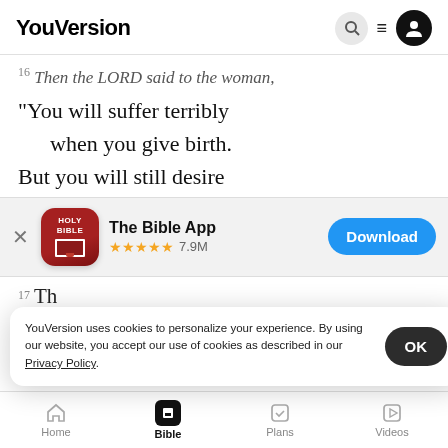YouVersion
Then the LORD said to the woman,
“You will suffer terribly
    when you give birth.
But you will still desire
[Figure (screenshot): App download banner for The Bible App, rated 4.9 stars with 7.9M ratings, with a blue Download button]
17 Th…
YouVersion uses cookies to personalize your experience. By using our website, you accept our use of cookies as described in our Privacy Policy.
“You listened to your wife
Home  Bible  Plans  Videos